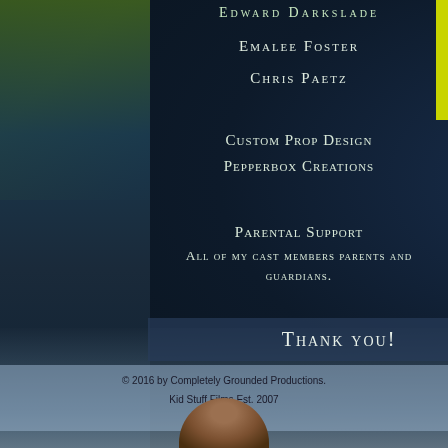Edward Darkslade
Emalee Foster
Chris Paetz
Custom Prop Design
Pepperbox Creations
Parental Support
All of my cast members parents and guardians.
Thank you!
© 2016 by Completely Grounded Productions.
Kid Stuff Films Est. 2007
Cert 594885
[Figure (illustration): Top of a character's head with brown hair visible at the bottom of the frame]